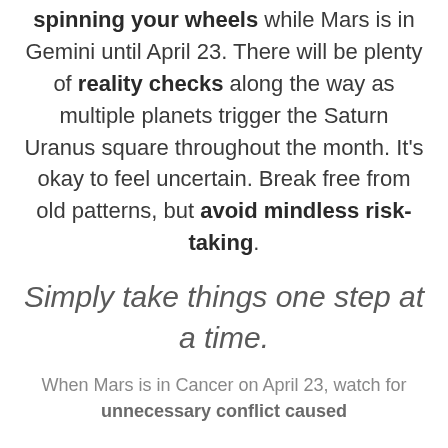spinning your wheels while Mars is in Gemini until April 23. There will be plenty of reality checks along the way as multiple planets trigger the Saturn Uranus square throughout the month. It's okay to feel uncertain. Break free from old patterns, but avoid mindless risk-taking.
Simply take things one step at a time.
When Mars is in Cancer on April 23, watch for unnecessary conflict caused